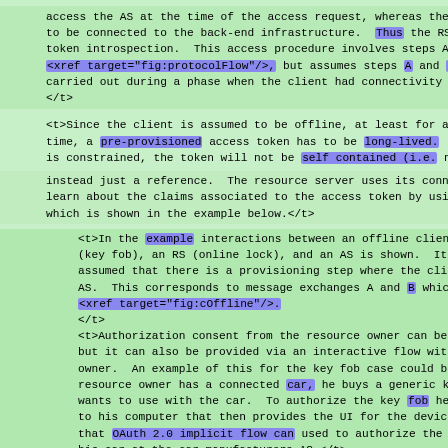access the AS at the time of the access request, whereas the RS
to be connected to the back-end infrastructure.  Thus the RS can
token introspection.  This access procedure involves steps A-F c
<xref target="fig:protocolFlow"/>, but assumes steps A and B hav
carried out during a phase when the client had connectivity to A
</t>
<t>Since the client is assumed to be offline, at least for a cer
time, a pre-provisioned access token has to be long-lived.  Sinc
is constrained, the token will not be self contained (i.e. not a
instead just a reference.  The resource server uses its connecti
learn about the claims associated to the access token by using i
which is shown in the example below.</t>
<t>In the example interactions between an offline client
(key fob), an RS (online lock), and an AS is shown.  It is
assumed that there is a provisioning step where the client has
AS.  This corresponds to message exchanges A and B which are s
<xref target="fig:cOffline"/>.
</t>
<t>Authorization consent from the resource owner can be pre-co
but it can also be provided via an interactive flow with the r
owner.  An example of this for the key fob case could be that
resource owner has a connected car, he buys a generic key that
wants to use with the car.  To authorize the key fob he connec
to his computer that then provides the UI for the device.  Aft
that OAuth 2.0 implicit flow can used to authorize the key for
his car at the car manufacturers AS.</t>
<t>Note: In this example the client does not know the exact do
will be used to access since the token request is not send at
time of access. So the scope and audience parameters are set q
wide to start with, while tailored values narrowing down the c
the specific RS being accessed can be provided to that RS du